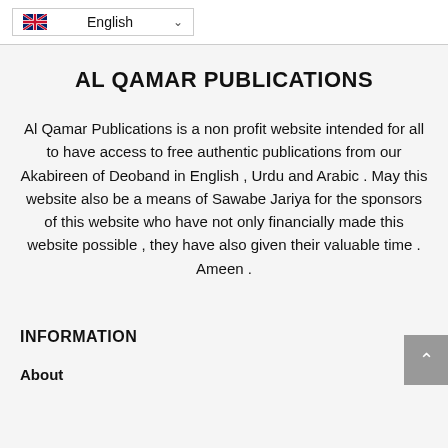English
AL QAMAR PUBLICATIONS
Al Qamar Publications is a non profit website intended for all to have access to free authentic publications from our Akabireen of Deoband in English , Urdu and Arabic . May this website also be a means of Sawabe Jariya for the sponsors of this website who have not only financially made this website possible , they have also given their valuable time . Ameen .
INFORMATION
About